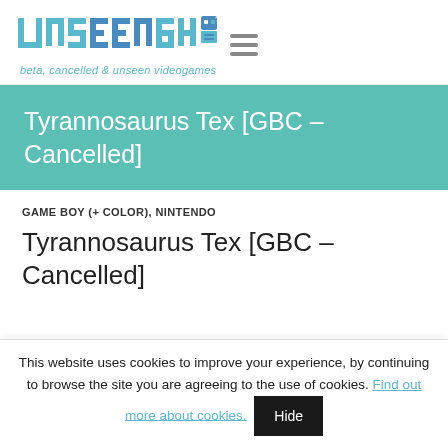unseen64 beta, cancelled & unseen videogames
Tyrannosaurus Tex [GBC – Cancelled]
GAME BOY (+ COLOR), NINTENDO
Tyrannosaurus Tex [GBC – Cancelled]
This website uses cookies to improve your experience, by continuing to browse the site you are agreeing to the use of cookies. Find out more about cookies. Hide